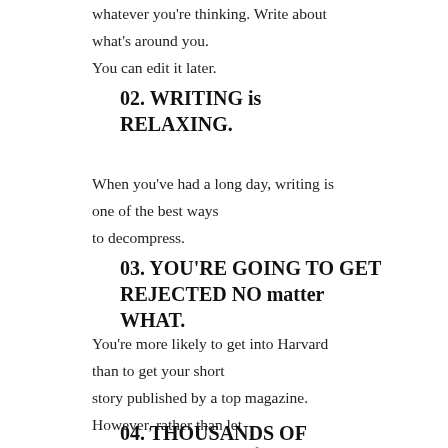whatever you're thinking. Write about what's around you. You can edit it later.
02. WRITING is RELAXING.
When you've had a long day, writing is one of the best ways to decompress.
03. YOU'RE GOING TO GET REJECTED NO matter WHAT.
You're more likely to get into Harvard than to get your short story published by a top magazine. However, rather than let that discourage you, let it free you up from perfectionism.
04. THOUSANDS OF PUBLICATIONS